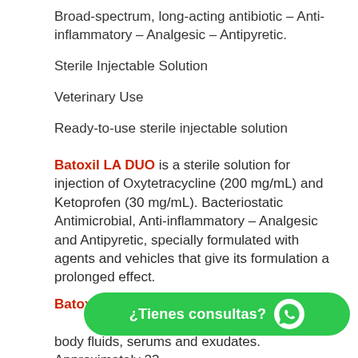Broad-spectrum, long-acting antibiotic – Anti-inflammatory – Analgesic – Antipyretic.
Sterile Injectable Solution
Veterinary Use
Ready-to-use sterile injectable solution
Batoxil LA DUO is a sterile solution for injection of Oxytetracycline (200 mg/mL) and Ketoprofen (30 mg/mL). Bacteriostatic Antimicrobial, Anti-inflammatory – Analgesic and Antipyretic, specially formulated with agents and vehicles that give its formulation a prolonged effect.
Batoxil LA DUO achieves body fluids, serums and exudates. Approximately 23
[Figure (other): WhatsApp chat button overlay with green rounded rectangle, WhatsApp icon, and text '¿Tienes consultas?']